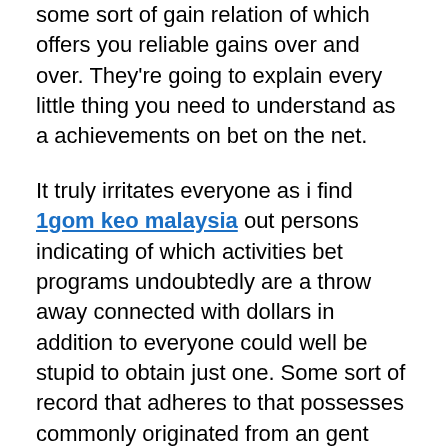some sort of gain relation of which offers you reliable gains over and over. They're going to explain every little thing you need to understand as a achievements on bet on the net.
It truly irritates everyone as i find 1gom keo malaysia out persons indicating of which activities bet programs undoubtedly are a throw away connected with dollars in addition to everyone could well be stupid to obtain just one. Some sort of record that adheres to that possesses commonly originated from an gent who has often:
Never ever desired to look into the best way some sort of activities bet process really works.